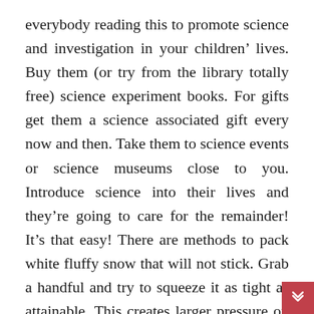everybody reading this to promote science and investigation in your children' lives. Buy them (or try from the library totally free) science experiment books. For gifts get them a science associated gift every now and then. Take them to science events or science museums close to you. Introduce science into their lives and they're going to care for the remainder! It's that easy! There are methods to pack white fluffy snow that will not stick. Grab a handful and try to squeeze it as tight as attainable. This creates larger pressure on the ice crystals, making it extra seemingly they are going to stick. You can also blow scorching air on the snow to extend its